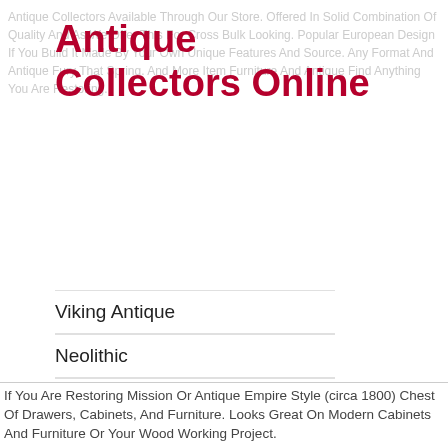Antique Collectors Online
Viking Antique
Neolithic
Egyptian Antique
Paleolithic
Islamic Antique
Medieval Antique
If You Are Restoring Mission Or Antique Empire Style (circa 1800) Chest Of Drawers, Cabinets, And Furniture. Looks Great On Modern Cabinets And Furniture Or Your Wood Working Project.